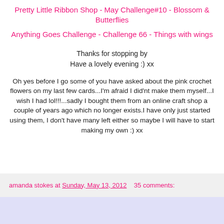Pretty Little Ribbon Shop - May Challenge#10 - Blossom & Butterflies
Anything Goes Challenge - Challenge 66 - Things with wings
Thanks for stopping by
Have a lovely evening :) xx
Oh yes before I go some of you have asked about the pink crochet flowers on my last few cards...I'm afraid I did'nt make them myself...I wish I had lol!!!...sadly I bought them from an online craft shop a couple of years ago which no longer exists.I have only just started using them, I don't have many left either so maybe I will have to start making my own :) xx
amanda stokes at Sunday, May 13, 2012    35 comments: